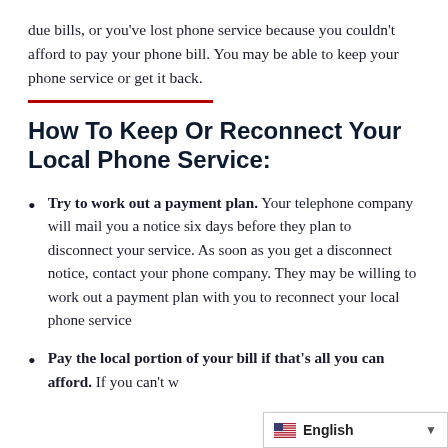due bills, or you've lost phone service because you couldn't afford to pay your phone bill. You may be able to keep your phone service or get it back.
How To Keep Or Reconnect Your Local Phone Service:
Try to work out a payment plan. Your telephone company will mail you a notice six days before they plan to disconnect your service. As soon as you get a disconnect notice, contact your phone company. They may be willing to work out a payment plan with you to reconnect your local phone service
Pay the local portion of your bill if that's all you can afford. If you can't w... an